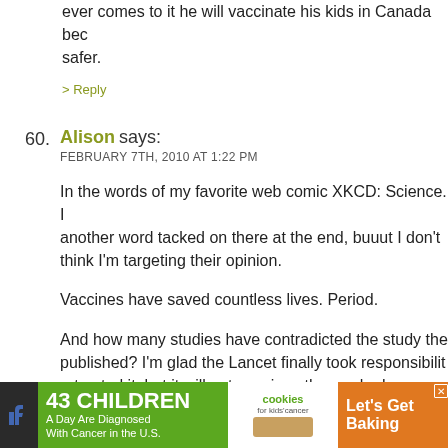ever comes to it he will vaccinate his kids in Canada bec safer.
> Reply
60. Alison says:
FEBRUARY 7TH, 2010 AT 1:22 PM
In the words of my favorite web comic XKCD: Science. I another word tacked on there at the end, buuut I don't think I'm targeting their opinion.
Vaccines have saved countless lives. Period.
And how many studies have contradicted the study the published? I'm glad the Lancet finally took responsibilit retracted it, but it will not convince those who have cor ignore the evidence.
xoxo
> Reply
61. Rachael says:
[Figure (screenshot): Advertisement banner: '43 CHILDREN A Day Are Diagnosed With Cancer in the U.S.' with cookies for kids cancer and Let's Get Baking promotion]